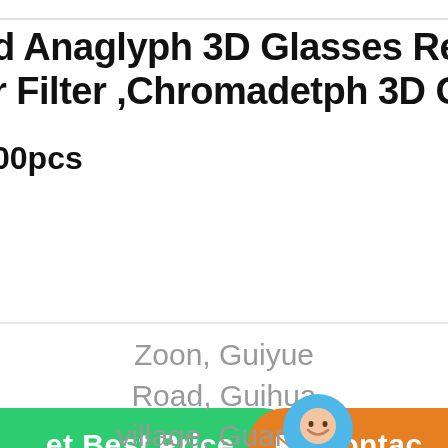d Anaglyph 3D Glasses Red Cya r Filter ,Chromadetph 3D Glasse
00pcs
[Figure (screenshot): Green 'Get Best Price' button on the left, orange 'Contact' button on the right, with a circular chat bubble widget in the center labeled 'Chat Now']
Zoon, Guiyue Road, Guihua village, Guanlan